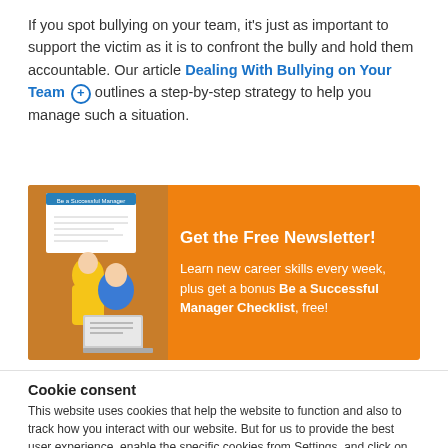If you spot bullying on your team, it's just as important to support the victim as it is to confront the bully and hold them accountable. Our article Dealing With Bullying on Your Team ⊕ outlines a step-by-step strategy to help you manage such a situation.
[Figure (infographic): Orange newsletter signup banner with image of two people at a laptop on the left, and text 'Get the Free Newsletter! Learn new career skills every week, plus get a bonus Be a Successful Manager Checklist, free!' on the right.]
Cookie consent
This website uses cookies that help the website to function and also to track how you interact with our website. But for us to provide the best user experience, enable the specific cookies from Settings, and click on Accept. Read More